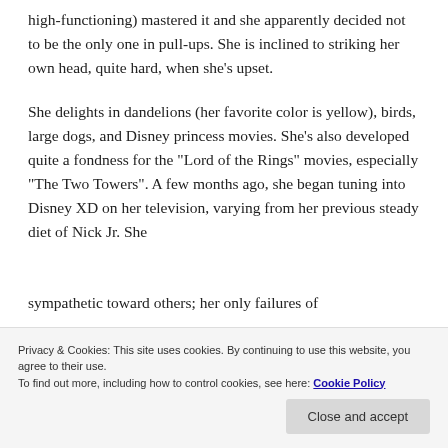high-functioning) mastered it and she apparently decided not to be the only one in pull-ups. She is inclined to striking her own head, quite hard, when she’s upset.
She delights in dandelions (her favorite color is yellow), birds, large dogs, and Disney princess movies. She’s also developed quite a fondness for the “Lord of the Rings” movies, especially “The Two Towers”. A few months ago, she began tuning into Disney XD on her television, varying from her previous steady diet of Nick Jr. She
sympathetic toward others; her only failures of
Privacy & Cookies: This site uses cookies. By continuing to use this website, you agree to their use.
To find out more, including how to control cookies, see here: Cookie Policy